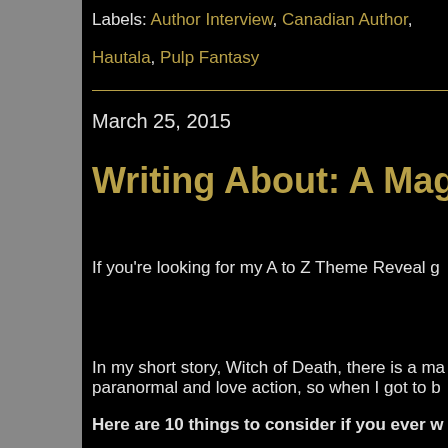Labels: Author Interview, Canadian Author, Hautala, Pulp Fantasy
March 25, 2015
Writing About: A Magickal
If you're looking for my A to Z Theme Reveal g
In my short story, Witch of Death, there is a ma paranormal and love action, so when I got to b
Here are 10 things to consider if you ever w